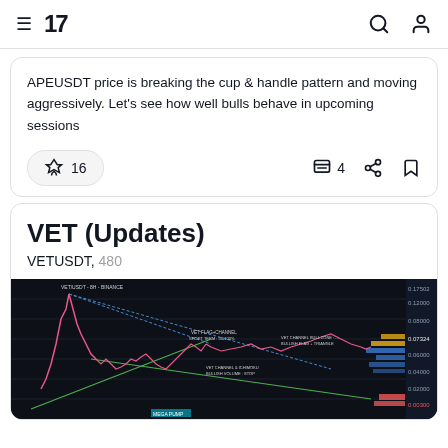TradingView
APEUSDT price is breaking the cup & handle pattern and moving aggressively. Let's see how well bulls behave in upcoming sessions
🚀 16   💬 4
VET (Updates)
VETUSDT, 480
[Figure (screenshot): TradingView chart screenshot showing VETUSDT 480-minute candlestick chart with price action, trend lines, and volume profile on dark background]